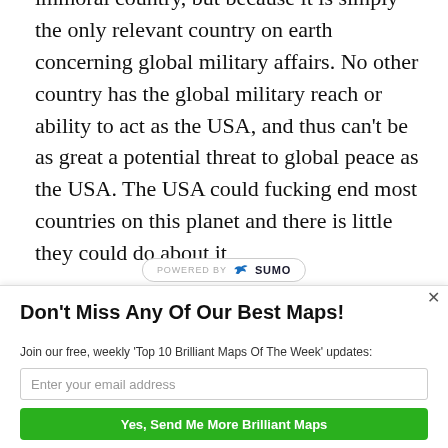immoral country, but because it is simply the only relevant country on earth concerning global military affairs. No other country has the global military reach or ability to act as the USA, and thus can't be as great a potential threat to global peace as the USA. The USA could fucking end most countries on this planet and there is little they could do about it
Don't Miss Any Of Our Best Maps!
Join our free, weekly 'Top 10 Brilliant Maps Of The Week' updates:
Enter your email address
Yes, Send Me More Brilliant Maps